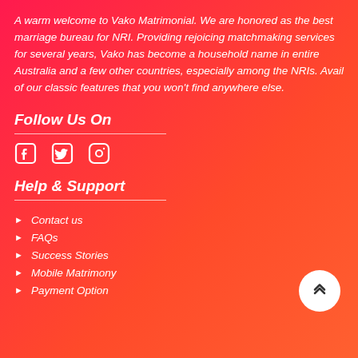A warm welcome to Vako Matrimonial. We are honored as the best marriage bureau for NRI. Providing rejoicing matchmaking services for several years, Vako has become a household name in entire Australia and a few other countries, especially among the NRIs. Avail of our classic features that you won't find anywhere else.
Follow Us On
[Figure (illustration): Social media icons: Facebook, Twitter, Instagram]
Help & Support
Contact us
FAQs
Success Stories
Mobile Matrimony
Payment Option